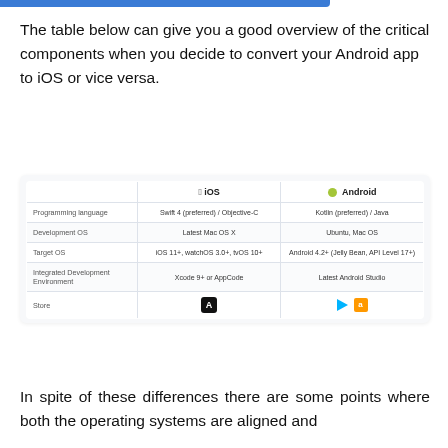The table below can give you a good overview of the critical components when you decide to convert your Android app to iOS or vice versa.
|  | iOS | Android |
| --- | --- | --- |
| Programming language | Swift 4 (preferred) / Objective-C | Kotlin (preferred) / Java |
| Development OS | Latest Mac OS X | Ubuntu, Mac OS |
| Target OS | iOS 11+, watchOS 3.0+, tvOS 10+ | Android 4.2+ (Jelly Bean, API Level 17+) |
| Integrated Development Environment | Xcode 9+ or AppCode | Latest Android Studio |
| Store | [App Store icon] | [Play Store + Amazon icon] |
In spite of these differences there are some points where both the operating systems are aligned and